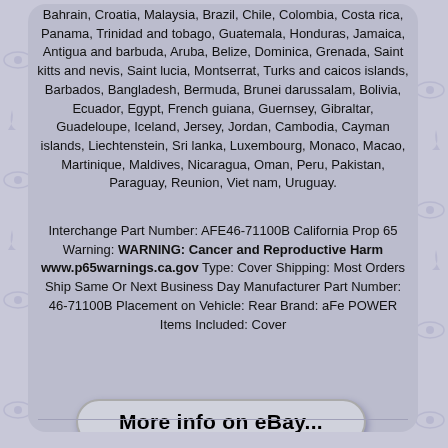Bahrain, Croatia, Malaysia, Brazil, Chile, Colombia, Costa rica, Panama, Trinidad and tobago, Guatemala, Honduras, Jamaica, Antigua and barbuda, Aruba, Belize, Dominica, Grenada, Saint kitts and nevis, Saint lucia, Montserrat, Turks and caicos islands, Barbados, Bangladesh, Bermuda, Brunei darussalam, Bolivia, Ecuador, Egypt, French guiana, Guernsey, Gibraltar, Guadeloupe, Iceland, Jersey, Jordan, Cambodia, Cayman islands, Liechtenstein, Sri lanka, Luxembourg, Monaco, Macao, Martinique, Maldives, Nicaragua, Oman, Peru, Pakistan, Paraguay, Reunion, Viet nam, Uruguay.
Interchange Part Number: AFE46-71100B California Prop 65 Warning: WARNING: Cancer and Reproductive Harm www.p65warnings.ca.gov Type: Cover Shipping: Most Orders Ship Same Or Next Business Day Manufacturer Part Number: 46-71100B Placement on Vehicle: Rear Brand: aFe POWER Items Included: Cover
[Figure (other): Button/link styled element with rounded pill shape and text 'More info on eBay...']
[Figure (other): Social media share icons: Facebook (blue), Twitter (light blue), Pinterest (red), Email (red)]